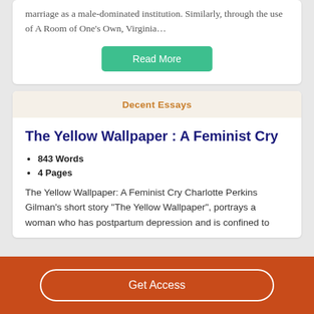marriage as a male-dominated institution. Similarly, through the use of A Room of One’s Own, Virginia…
Read More
Decent Essays
The Yellow Wallpaper : A Feminist Cry
843 Words
4 Pages
The Yellow Wallpaper: A Feminist Cry Charlotte Perkins Gilman’s short story “The Yellow Wallpaper”, portrays a woman who has postpartum depression and is confined to
Get Access